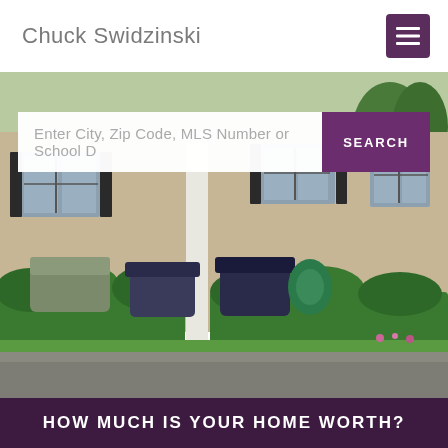Chuck Swidzinski
[Figure (screenshot): Menu hamburger icon button with purple background]
[Figure (photo): Exterior photo of a suburban house with white column porch, green hedges, covered outdoor furniture/grill, and manicured lawn]
Enter City, Zip Code, MLS Number or School D
SEARCH
HOW MUCH IS YOUR HOME WORTH?